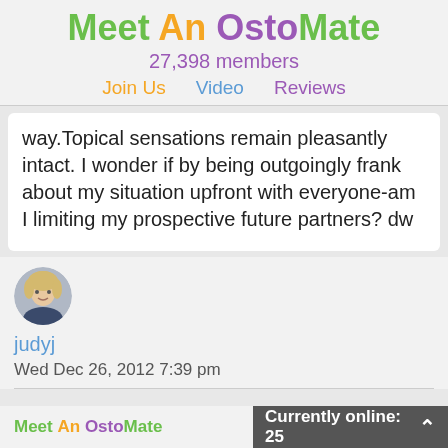Meet An OstoMate
27,398 members
Join Us  Video  Reviews
way.Topical sensations remain pleasantly intact.  I wonder if by being outgoingly frank about my situation upfront with everyone-am I limiting my prospective future partners? dw
[Figure (photo): Circular avatar photo of a woman with blonde hair]
judyj
Wed Dec 26, 2012 7:39 pm
Meet An OstoMate   Currently online: 25 ^